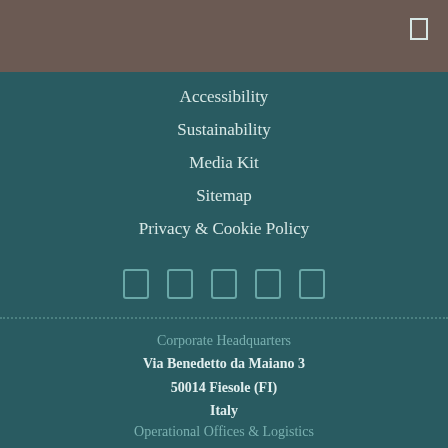Accessibility
Sustainability
Media Kit
Sitemap
Privacy & Cookie Policy
[Figure (illustration): Five social media icon placeholders (rectangular outlines) displayed in a row]
Corporate Headquarters
Via Benedetto da Maiano 3
50014 Fiesole (FI)
Italy
Operational Offices & Logistics
Via Faentina 169/15
50014 Fiesole (FI)
Italy
Postal Address
C.P. 12